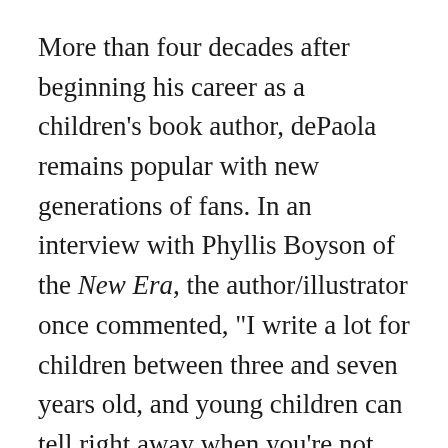More than four decades after beginning his career as a children's book author, dePaola remains popular with new generations of fans. In an interview with Phyllis Boyson of the New Era, the author/illustrator once commented, "I write a lot for children between three and seven years old, and young children can tell right away when you're not being honest. If a message rings true, they will sit and listen. My guess is that children respond to my work because it's simple and honest." Writing in Books for Your Children, dePaola added, "It's a dream of mine that one of my books, any